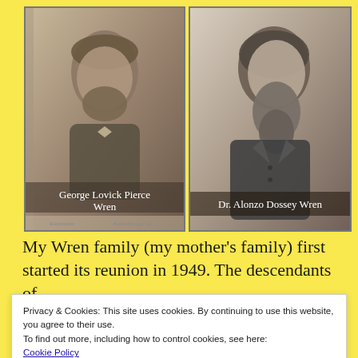[Figure (photo): Two vintage sepia/black-and-white portrait photographs side by side. Left: George Lovick Pierce Wren. Right: Dr. Alonzo Dossey Wren.]
George Lovick Pierce Wren
Dr. Alonzo Dossey Wren
My Wren family (my mother’s family) first started its reunion in 1949. The descendants of
Privacy & Cookies: This site uses cookies. By continuing to use this website, you agree to their use.
To find out more, including how to control cookies, see here:
Cookie Policy
Close and accept
and Minnie Laurie (WREN)